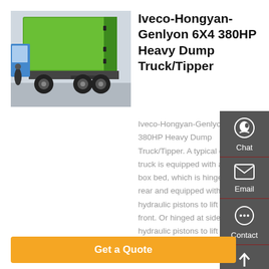[Figure (photo): Rear view of a green Iveco-Hongyan-Genlyon heavy dump truck/tipper parked outdoors]
Iveco-Hongyan-Genlyon 6X4 380HP Heavy Dump Truck/Tipper
Iveco-Hongyan-Genlyon 6X4 380HP Heavy Dump Truck/Tipper. A typical dump truck is equipped with an open-box bed, which is hinged at the rear and equipped with hydraulic pistons to lift the front. Or hinged at side with hydraulic pistons to lift the side.
Get a Quote